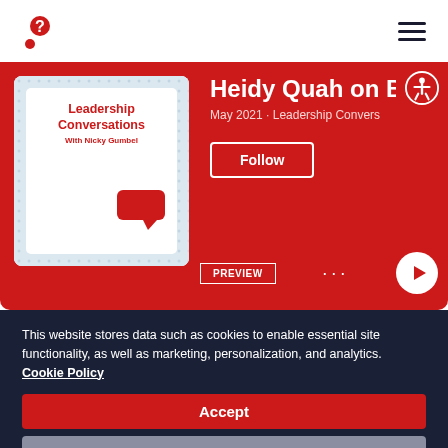[Figure (logo): Red question mark logo on white background]
[Figure (illustration): Hamburger menu icon (three horizontal lines)]
[Figure (illustration): Podcast card thumbnail showing 'Leadership Conversations With Nicky Gumbel' on red background with speech bubble]
Heidy Quah on Be
May 2021 · Leadership Convers
Follow
PREVIEW
[Figure (illustration): Accessibility icon button (person with circle)]
This website stores data such as cookies to enable essential site functionality, as well as marketing, personalization, and analytics. Cookie Policy
Accept
Deny